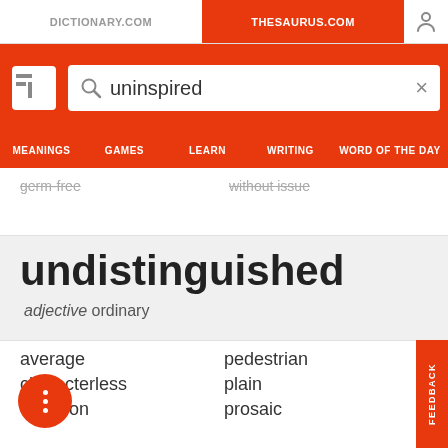DICTIONARY.COM | THESAURUS.COM
[Figure (screenshot): Thesaurus.com website header with search bar showing 'uninspired' and navigation menu with MEANINGS, GAMES, LEARN, WRITING, WORD OF THE DAY]
germ-free   without issue
undistinguished
adjective ordinary
average
pedestrian
characterless
plain
common
prosaic